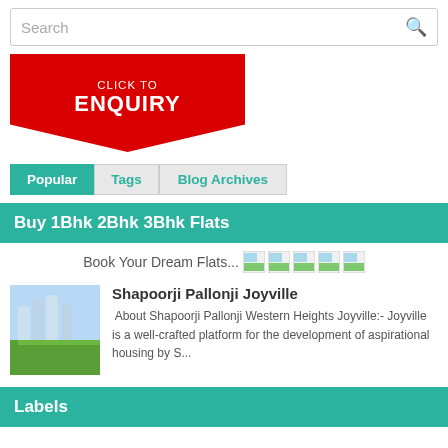Search
[Figure (illustration): Red banner with 'CLICK TO ENQUIRY' text in white, shaped like a ribbon pointing downward]
Popular | Tags | Blog Archives
Buy 1Bhk 2Bhk 3Bhk Flats
Book Your Dream Flats...
Shapoorji Pallonji Joyville
About Shapoorji Pallonji Western Heights Joyville:- Joyville is a well-crafted platform for the development of aspirational housing by S...
Labels